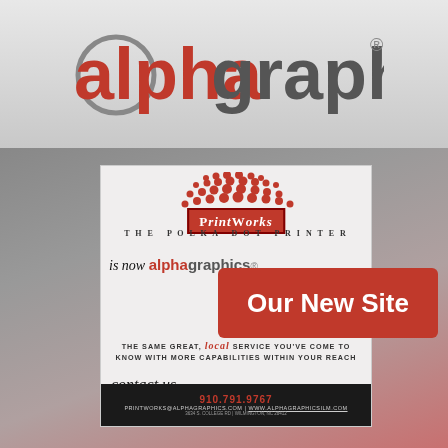[Figure (logo): AlphaGraphics logo — red 'alpha' text, dark gray 'graphics' text with circle swoosh and registered trademark symbol]
[Figure (illustration): PrintWorks The Polka Dot Printer promotional flyer showing conversion to AlphaGraphics, with 'is now alphagraphics', local service text, contact us script, phone 910.791.9767, email and website]
Our New Site